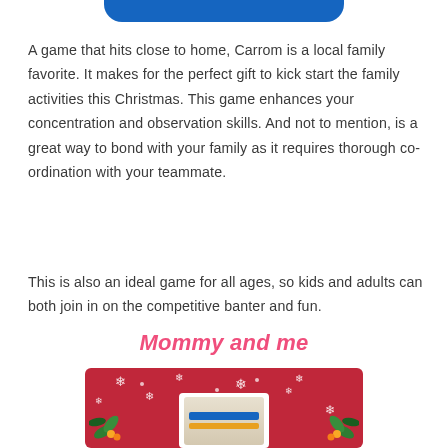[Figure (other): Blue banner/ribbon at top of page]
A game that hits close to home, Carrom is a local family favorite. It makes for the perfect gift to kick start the family activities this Christmas. This game enhances your concentration and observation skills. And not to mention, is a great way to bond with your family as it requires thorough co-ordination with your teammate.
This is also an ideal game for all ages, so kids and adults can both join in on the competitive banter and fun.
Mommy and me
[Figure (photo): Red Christmas-themed product image with snowflakes, holly leaves, and a product box in the center]